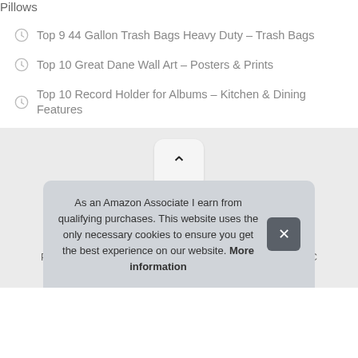Pillows
Top 9 44 Gallon Trash Bags Heavy Duty – Trash Bags
Top 10 Great Dane Wall Art – Posters & Prints
Top 10 Record Holder for Albums – Kitchen & Dining Features
[Figure (other): Scroll-to-top button with upward chevron arrow on gray background]
Pad Media Pro © 2022. All Rights Reserved. Padmediapro.com is a participant in the Amazon Services LLC Ass...
As an Amazon Associate I earn from qualifying purchases. This website uses the only necessary cookies to ensure you get the best experience on our website. More information